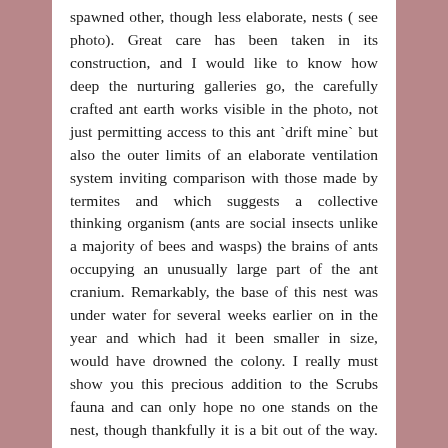spawned other, though less elaborate, nests ( see photo). Great care has been taken in its construction, and I would like to know how deep the nurturing galleries go, the carefully crafted ant earth works visible in the photo, not just permitting access to this ant `drift mine` but also the outer limits of an elaborate ventilation system inviting comparison with those made by termites and which suggests a collective thinking organism (ants are social insects unlike a majority of bees and wasps) the brains of ants occupying an unusually large part of the ant cranium. Remarkably, the base of this nest was under water for several weeks earlier on in the year and which had it been smaller in size, would have drowned the colony. I really must show you this precious addition to the Scrubs fauna and can only hope no one stands on the nest, though thankfully it is a bit out of the way. I intend to construct mounds close to the